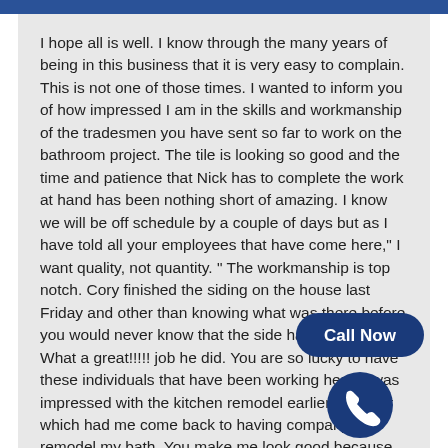I hope all is well. I know through the many years of being in this business that it is very easy to complain. This is not one of those times. I wanted to inform you of how impressed I am in the skills and workmanship of the tradesmen you have sent so far to work on the bathroom project. The tile is looking so good and the time and patience that Nick has to complete the work at hand has been nothing short of amazing. I know we will be off schedule by a couple of days but as I have told all your employees that have come here," I want quality, not quantity. " The workmanship is top notch. Cory finished the siding on the house last Friday and other than knowing what was there before you would never know that the side has changed. What a great!!!!! job he did. You are so lucky to have these individuals that have been working here. I was impressed with the kitchen remodel earlier this year which had me come back to having company remodel my bath. You make me look good because of the correct choice of contractors. Please make team know that I am thrilled so far and to keep up the good
[Figure (other): Call Now button with phone icon, dark blue rounded rectangle with white bold text 'Call Now' and a circular dark blue phone icon below it]